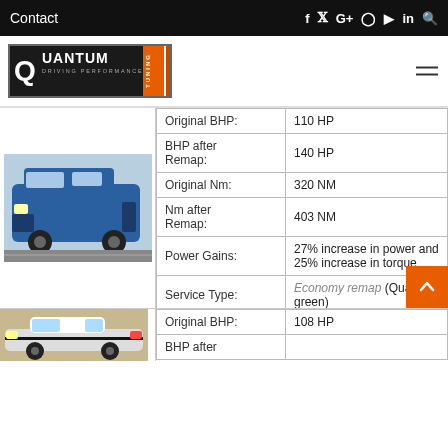Contact
[Figure (logo): Quantum Tuning - Driving Performance logo with orange stripes]
| Field | Value |
| --- | --- |
| Original BHP: | 110 HP |
| BHP after Remap: | 140 HP |
| Original Nm: | 320 NM |
| Nm after Remap: | 403 NM |
| Power Gains: | 27% increase in power and 25% increase in torque |
| Service Type: | Economy remap (Quantum green) |
| Comments: | Wanted better economy |
| Field | Value |
| --- | --- |
| Original BHP: | 108 HP |
| BHP after |  |